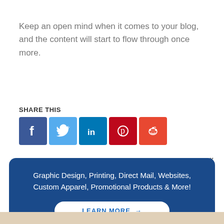Keep an open mind when it comes to your blog, and the content will start to flow through once more.
SHARE THIS
[Figure (illustration): Social media share icons: Facebook (dark blue), Twitter (light blue), LinkedIn (teal), Pinterest (dark red), Reddit (red)]
Graphic Design, Printing, Direct Mail, Websites, Custom Apparel, Promotional Products & More!
LEARN MORE →